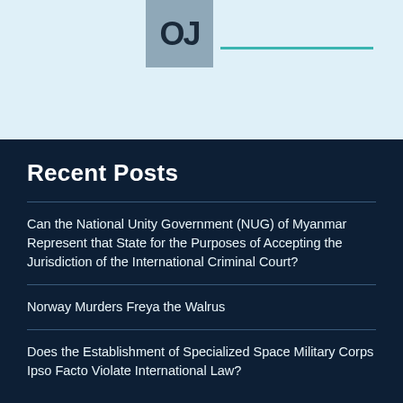[Figure (logo): Partial logo/icon showing letters 'OJ' in dark blue on a grey-blue background box]
Recent Posts
Can the National Unity Government (NUG) of Myanmar Represent that State for the Purposes of Accepting the Jurisdiction of the International Criminal Court?
Norway Murders Freya the Walrus
Does the Establishment of Specialized Space Military Corps Ipso Facto Violate International Law?